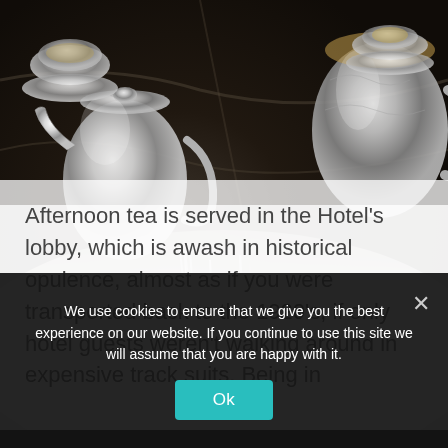[Figure (photo): Close-up photograph of an elegant afternoon tea table setting with silver teapots, fine china plates with decorative patterns, white linen tablecloth, and silverware on a dark marble surface, suggesting a luxury hotel setting.]
Afternoon tea is served in the Hotel’s lobby, which is awash in historical opulence, almost as if you were transported back to the 1920’s, if only hotel guests weren’t walking around in expensive track suits.  Being in
We use cookies to ensure that we give you the best experience on our website. If you continue to use this site we will assume that you are happy with it.